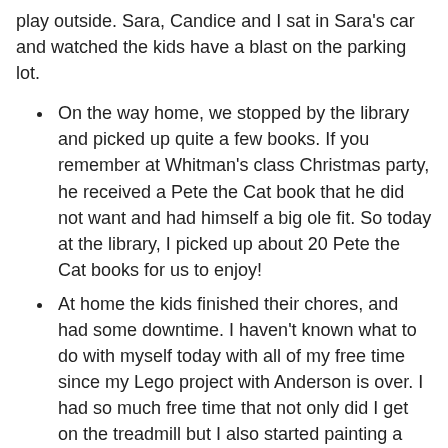play outside. Sara, Candice and I sat in Sara's car and watched the kids have a blast on the parking lot.
On the way home, we stopped by the library and picked up quite a few books. If you remember at Whitman's class Christmas party, he received a Pete the Cat book that he did not want and had himself a big ole fit. So today at the library, I picked up about 20 Pete the Cat books for us to enjoy!
At home the kids finished their chores, and had some downtime. I haven't known what to do with myself today with all of my free time since my Lego project with Anderson is over. I had so much free time that not only did I get on the treadmill but I also started painting a side table.
Reagan made a dessert for tonight-no bake chocolate chip cookie bars. That was the recipe that she wanted to make yesterday but couldn't because we were out of butter. She didn't want anyone in the kitchen when she worked and even barked at me to